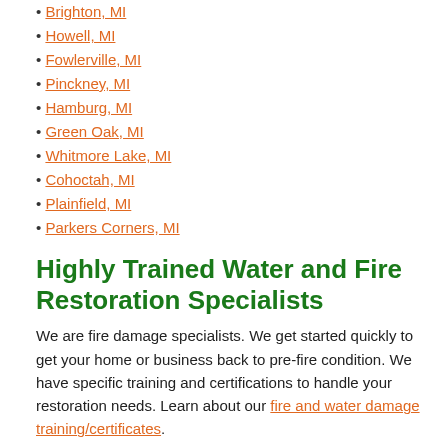Brighton, MI
Howell, MI
Fowlerville, MI
Pinckney, MI
Hamburg, MI
Green Oak, MI
Whitmore Lake, MI
Cohoctah, MI
Plainfield, MI
Parkers Corners, MI
Highly Trained Water and Fire Restoration Specialists
We are fire damage specialists. We get started quickly to get your home or business back to pre-fire condition. We have specific training and certifications to handle your restoration needs. Learn about our fire and water damage training/certificates.
Our Fire Restoration Process
Every fire damage event is a little different and requires a